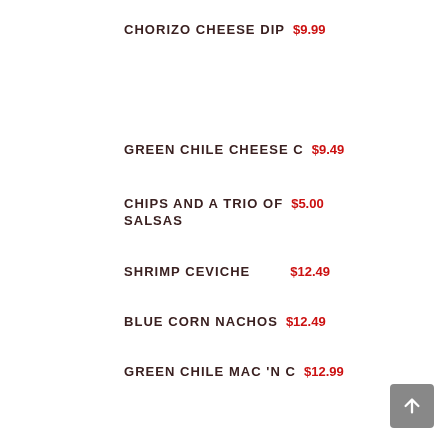CHORIZO CHEESE DIP  $9.99
GREEN CHILE CHEESE C  $9.49
CHIPS AND A TRIO OF SALSAS  $5.00
SHRIMP CEVICHE  $12.49
BLUE CORN NACHOS  $12.49
GREEN CHILE MAC 'N C  $12.99